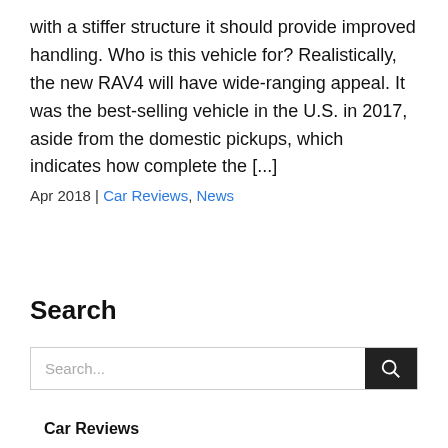with a stiffer structure it should provide improved handling. Who is this vehicle for? Realistically, the new RAV4 will have wide-ranging appeal. It was the best-selling vehicle in the U.S. in 2017, aside from the domestic pickups, which indicates how complete the [...]
Apr 2018 | Car Reviews, News
Search
Search...
Car Reviews